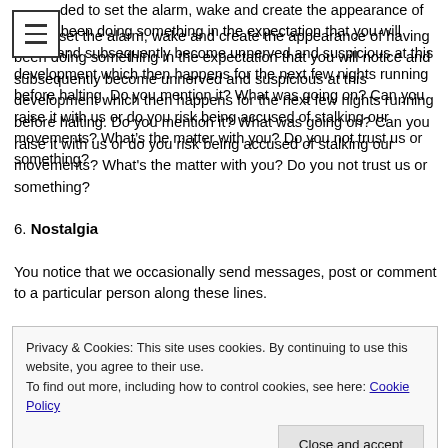reality is we may well have not been talking to anybody but we decided to set the alarm, wake and create the appearance of having been doing something in the expectation that you will notice and subsequently become unnerved and suspicious at this development which then happens for the next few nights running before halting. Do you mention it? What was going on? Can you raise it with us or do you risk being accused of stalking our movements? What's the matter with you? Do you not trust us or something?
6. Nostalgia
You notice that we occasionally send messages, post or comment to a particular person along these lines.
Privacy & Cookies: This site uses cookies. By continuing to use this website, you agree to their use. To find out more, including how to control cookies, see here: Cookie Policy
Close and accept